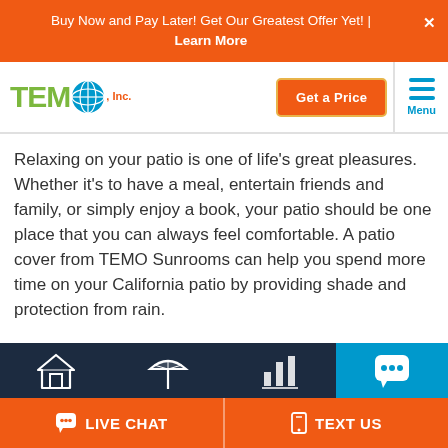Buy Now and Pay Later! Get Our Greatest Offer Yet! | Learn More
[Figure (logo): TEMO Inc. logo with globe icon in green letters]
[Figure (other): Get a Price button and hamburger Menu icon]
Relaxing on your patio is one of life’s great pleasures. Whether it’s to have a meal, entertain friends and family, or simply enjoy a book, your patio should be one place that you can always feel comfortable. A patio cover from TEMO Sunrooms can help you spend more time on your California patio by providing shade and protection from rain.
[Figure (other): Bottom navigation bar with house, patio cover, chart icons, and chat bubble icon on dark navy background]
LIVE CHAT   TEXT US